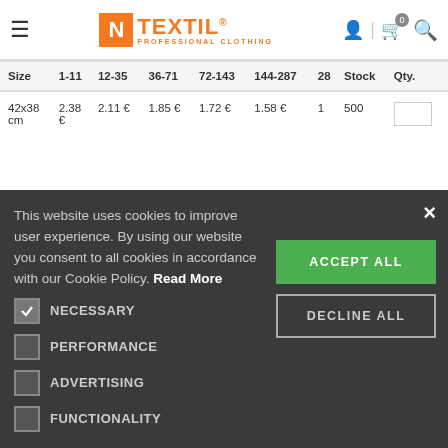N TEXTIL PROFESSIONAL CLOTHING
| Size | 1-11 | 12-35 | 36-71 | 72-143 | 144-287 | 288 | Stock | Qty. |
| --- | --- | --- | --- | --- | --- | --- | --- | --- |
| 42x38 cm | 2.38 € | 2.11 € | 1.85 € | 1.72 € | 1.58 € | 1 | 500 |  |
This website uses cookies to improve user experience. By using our website you consent to all cookies in accordance with our Cookie Policy. Read More
NECESSARY
PERFORMANCE
ADVERTISING
FUNCTIONALITY